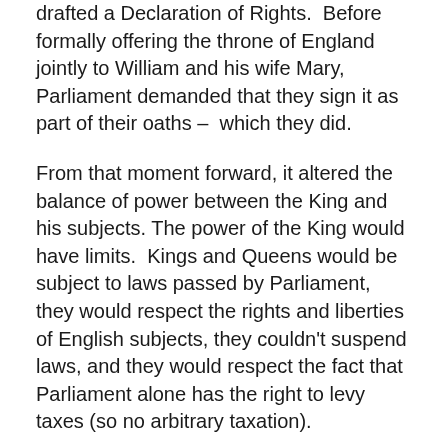drafted a Declaration of Rights.  Before formally offering the throne of England jointly to William and his wife Mary, Parliament demanded that they sign it as part of their oaths –  which they did.
From that moment forward, it altered the balance of power between the King and his subjects. The power of the King would have limits.  Kings and Queens would be subject to laws passed by Parliament, they would respect the rights and liberties of English subjects, they couldn't suspend laws, and they would respect the fact that Parliament alone has the right to levy taxes (so no arbitrary taxation).
As you can see, with all these documents – from the Magna Carta to the English Bill of Rights – the English were constantly forcing limits on government power. Each document was a restatement of Individual rights as with